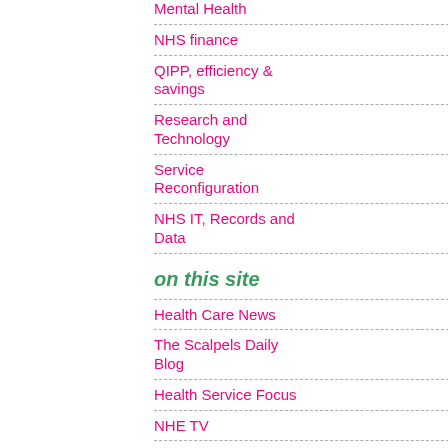Mental Health
NHS finance
QIPP, efficiency & savings
Research and Technology
Service Reconfiguration
NHS IT, Records and Data
on this site
Health Care News
The Scalpels Daily Blog
Health Service Focus
NHE TV
Comment
Interviews
Editors Comment
Last Word